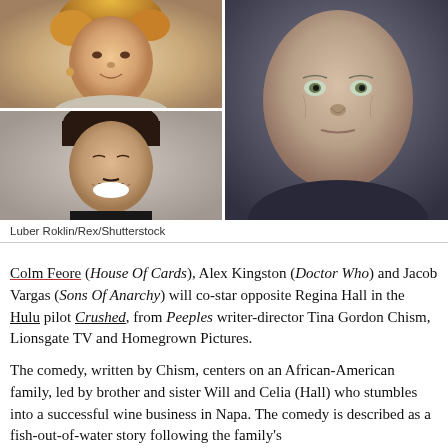[Figure (photo): Three actor headshot photos arranged in a 2-column grid: top-left is a woman with curly blonde hair, bottom-left is a man with dark hair and goatee smiling broadly, right is a close-up of an older man with light eyes looking directly at camera.]
Luber Roklin/Rex/Shutterstock
Colm Feore (House Of Cards), Alex Kingston (Doctor Who) and Jacob Vargas (Sons Of Anarchy) will co-star opposite Regina Hall in the Hulu pilot Crushed, from Peeples writer-director Tina Gordon Chism, Lionsgate TV and Homegrown Pictures.
The comedy, written by Chism, centers on an African-American family, led by brother and sister Will and Celia (Hall) who stumbles into a successful wine business in Napa. The comedy is described as a fish-out-of-water story following the family's